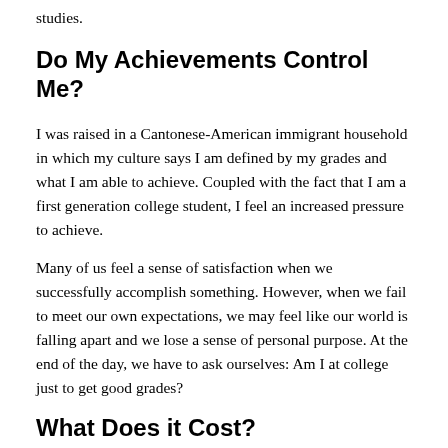studies.
Do My Achievements Control Me?
I was raised in a Cantonese-American immigrant household in which my culture says I am defined by my grades and what I am able to achieve. Coupled with the fact that I am a first generation college student, I feel an increased pressure to achieve.
Many of us feel a sense of satisfaction when we successfully accomplish something. However, when we fail to meet our own expectations, we may feel like our world is falling apart and we lose a sense of personal purpose. At the end of the day, we have to ask ourselves: Am I at college just to get good grades?
What Does it Cost?
Getting an “A” might seem victorious in the moment. Securing that substantial leadership role or internship can be thrilling. But what did it cost? Maybe you didn’t sacrifice anything. S…